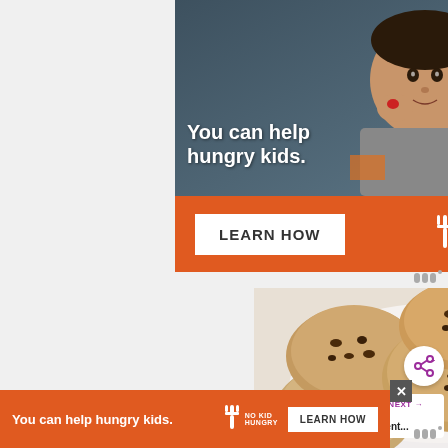[Figure (photo): Top advertisement banner: Photo of young boy eating, with orange bar below. Text overlay 'You can help hungry kids.' with LEARN HOW button and NO KID HUNGRY logo on orange background.]
[Figure (photo): Photo of chocolate chip oatmeal cookies in a white bowl on a light surface.]
[Figure (infographic): What's Next panel showing thumbnail image and text 'Easy 4-Ingredient...' with purple label 'WHAT'S NEXT →']
[Figure (infographic): Bottom sticky ad banner: orange background with text 'You can help hungry kids.' NO KID HUNGRY logo and LEARN HOW button, with X close button.]